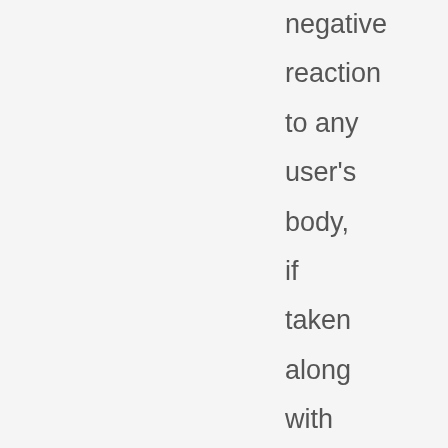negative reaction to any user's body, if taken along with proper recomm and a healthy lifestyle. Currently this supplem gives an further edge